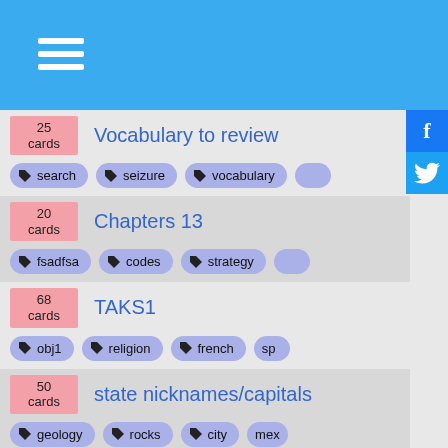Navigation menu header with hamburger icon
25 cards – Vocabulary to review – tags: search, seizure, vocabulary
20 cards – Chapters 13 – tags: fsadfsa, codes, strategy
68 cards – TAKS1 – tags: obj1, religion, french, sp
50 cards – state nicknames/capitals – tags: geology, rocks, city, mex
112 cards – Finals 152 – tags: english, finals, history, a
60 cards – HISTORY EXAM STUDY 2 – tags: history, biology, medicine
68 cards – World History 2006